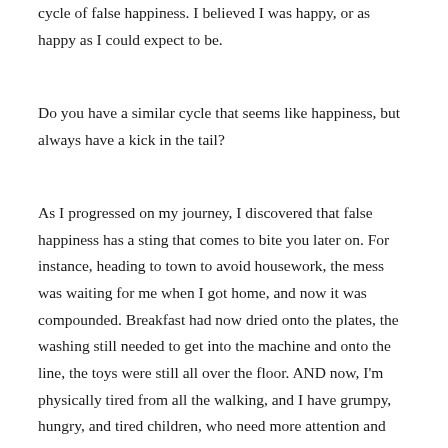cycle of false happiness. I believed I was happy, or as happy as I could expect to be.
Do you have a similar cycle that seems like happiness, but always have a kick in the tail?
As I progressed on my journey, I discovered that false happiness has a sting that comes to bite you later on. For instance, heading to town to avoid housework, the mess was waiting for me when I got home, and now it was compounded. Breakfast had now dried onto the plates, the washing still needed to get into the machine and onto the line, the toys were still all over the floor. AND now, I'm physically tired from all the walking, and I have grumpy, hungry, and tired children, who need more attention and care. The sting was worse than the initial thing I was trying to avoid. Add to this physical weariness, the internal dialogue of my